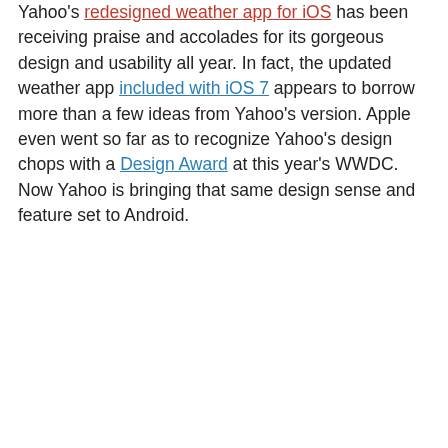Yahoo's redesigned weather app for iOS has been receiving praise and accolades for its gorgeous design and usability all year. In fact, the updated weather app included with iOS 7 appears to borrow more than a few ideas from Yahoo's version. Apple even went so far as to recognize Yahoo's design chops with a Design Award at this year's WWDC. Now Yahoo is bringing that same design sense and feature set to Android.